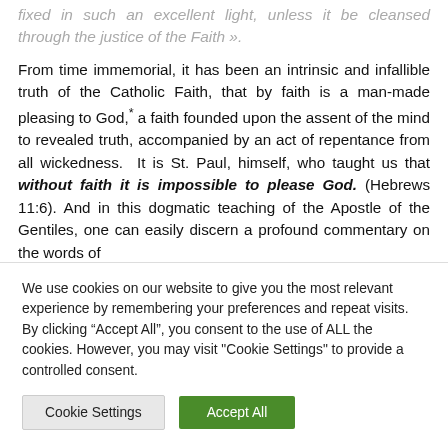fixed in such an excellent light, unless it be cleansed through the justice of the Faith ».
From time immemorial, it has been an intrinsic and infallible truth of the Catholic Faith, that by faith is a man-made pleasing to God,* a faith founded upon the assent of the mind to revealed truth, accompanied by an act of repentance from all wickedness. It is St. Paul, himself, who taught us that without faith it is impossible to please God. (Hebrews 11:6). And in this dogmatic teaching of the Apostle of the Gentiles, one can easily discern a profound commentary on the words of
We use cookies on our website to give you the most relevant experience by remembering your preferences and repeat visits. By clicking “Accept All”, you consent to the use of ALL the cookies. However, you may visit "Cookie Settings" to provide a controlled consent.